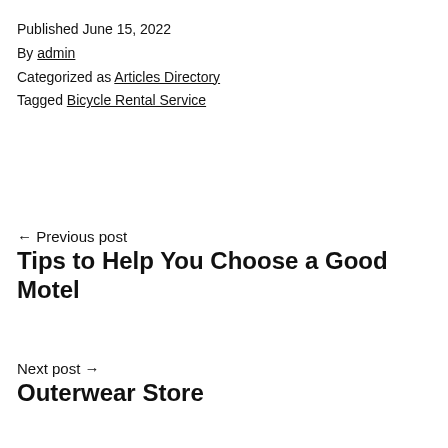Published June 15, 2022
By admin
Categorized as Articles Directory
Tagged Bicycle Rental Service
← Previous post
Tips to Help You Choose a Good Motel
Next post →
Outerwear Store